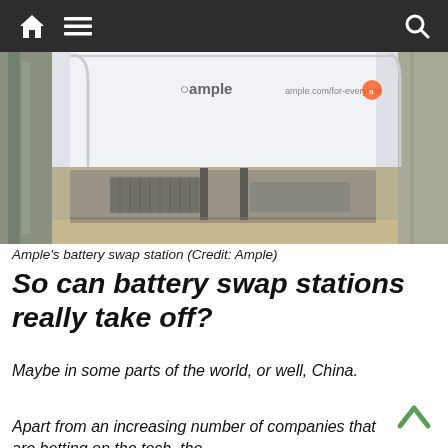Navigation bar with home, menu, and search icons
[Figure (photo): Ample's battery swap station interior showing a white booth with the Ample logo, a ramp platform with battery swap panels on the floor, concrete walls and flooring visible.]
Ample’s battery swap station (Credit: Ample)
So can battery swap stations really take off?
Maybe in some parts of the world, or well, China.
Apart from an increasing number of companies that are betting on the tech, the